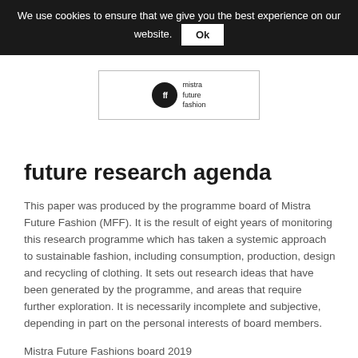We use cookies to ensure that we give you the best experience on our website. Ok
[Figure (logo): Mistra Future Fashion logo: black circle with 'ff' text inside, followed by 'mistra future fashion' text, inside a rectangular border]
future research agenda
This paper was produced by the programme board of Mistra Future Fashion (MFF). It is the result of eight years of monitoring this research programme which has taken a systemic approach to sustainable fashion, including consumption, production, design and recycling of clothing. It sets out research ideas that have been generated by the programme, and areas that require further exploration. It is necessarily incomplete and subjective, depending in part on the personal interests of board members.
Mistra Future Fashions board 2019
chairman: Nicholas Morley (Fareina)